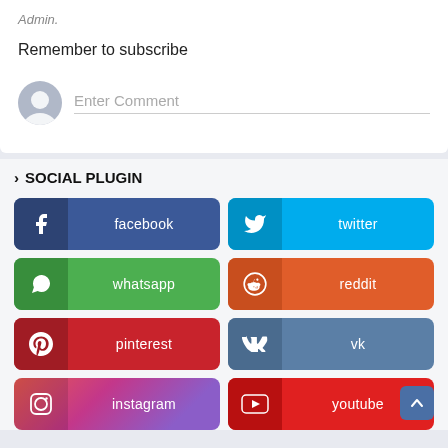Admin.
Remember to subscribe
Enter Comment
> SOCIAL PLUGIN
facebook
twitter
whatsapp
reddit
pinterest
vk
instagram
youtube